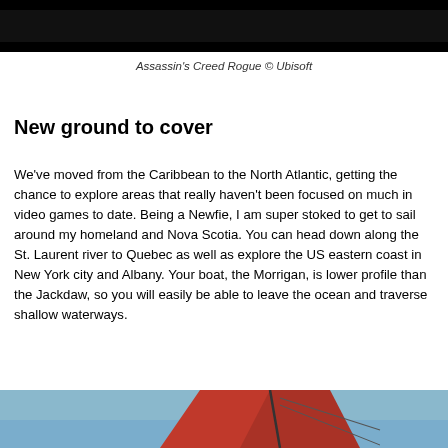≡  🔍
[Figure (screenshot): Top portion of a game screenshot from Assassin's Creed Rogue, dark/black image strip at the top]
Assassin's Creed Rogue © Ubisoft
New ground to cover
We've moved from the Caribbean to the North Atlantic, getting the chance to explore areas that really haven't been focused on much in video games to date. Being a Newfie, I am super stoked to get to sail around my homeland and Nova Scotia. You can head down along the St. Laurent river to Quebec as well as explore the US eastern coast in New York city and Albany. Your boat, the Morrigan, is lower profile than the Jackdaw, so you will easily be able to leave the ocean and traverse shallow waterways.
[Figure (screenshot): Bottom portion showing a red-sailed ship from Assassin's Creed Rogue against a blue sky]